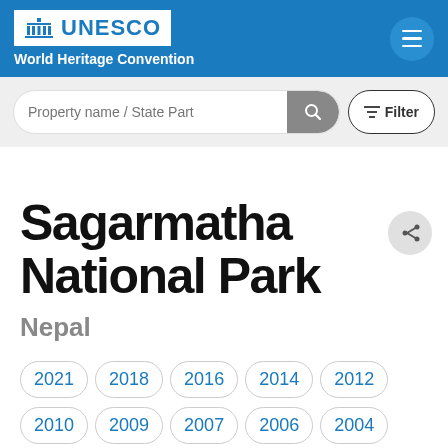UNESCO World Heritage Convention
[Figure (screenshot): UNESCO logo with building icon and text in white box, alongside blue header with World Heritage Convention subtitle and hamburger menu button]
[Figure (screenshot): Search bar with placeholder text 'Property name / State Part', search button, and Filter button]
Sagarmatha National Park
Nepal
2021
2018
2016
2014
2012
2010
2009
2007
2006
2004